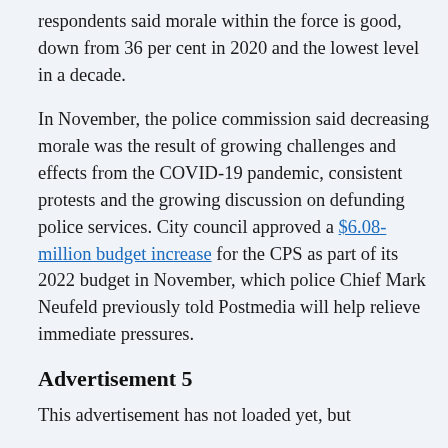respondents said morale within the force is good, down from 36 per cent in 2020 and the lowest level in a decade.
In November, the police commission said decreasing morale was the result of growing challenges and effects from the COVID-19 pandemic, consistent protests and the growing discussion on defunding police services. City council approved a $6.08-million budget increase for the CPS as part of its 2022 budget in November, which police Chief Mark Neufeld previously told Postmedia will help relieve immediate pressures.
Advertisement 5
This advertisement has not loaded yet, but